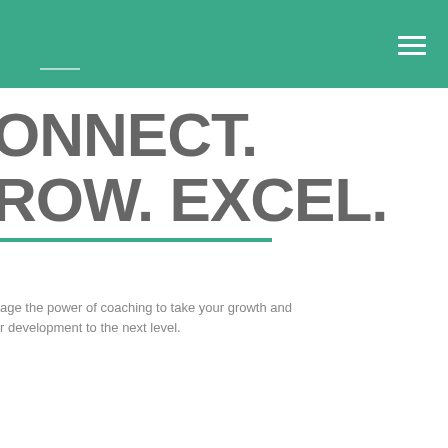CONNECT. GROW. EXCEL.
age the power of coaching to take your growth and r development to the next level.
LEARN MORE
[Figure (photo): Portrait photo of a person with light blue background, partially visible in bottom right corner]